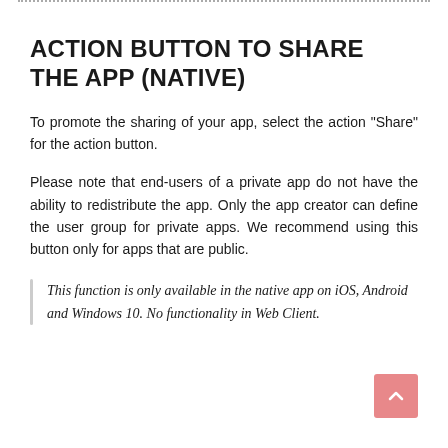ACTION BUTTON TO SHARE THE APP (NATIVE)
To promote the sharing of your app, select the action "Share" for the action button.
Please note that end-users of a private app do not have the ability to redistribute the app. Only the app creator can define the user group for private apps. We recommend using this button only for apps that are public.
This function is only available in the native app on iOS, Android and Windows 10. No functionality in Web Client.